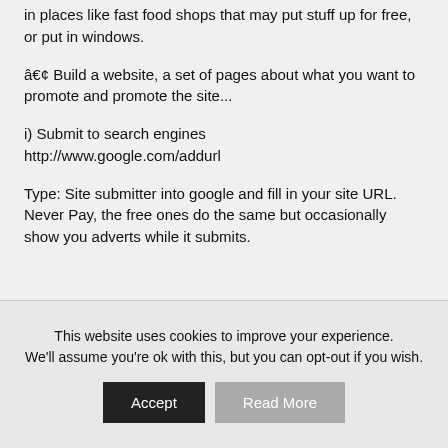in places like fast food shops that may put stuff up for free, or put in windows.
• Build a website, a set of pages about what you want to promote and promote the site...
i) Submit to search engines http://www.google.com/addurl
Type: Site submitter into google and fill in your site URL. Never Pay, the free ones do the same but occasionally show you adverts while it submits.
This website uses cookies to improve your experience. We'll assume you're ok with this, but you can opt-out if you wish.